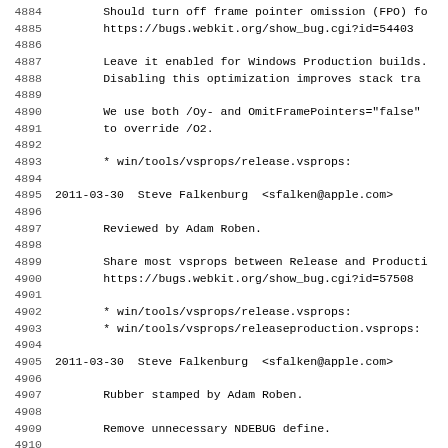4884-4915: Source code changelog lines showing commit entries by Steve Falkenburg for webkit, with line numbers, dates, authors, emails, reviewer info, and file paths.